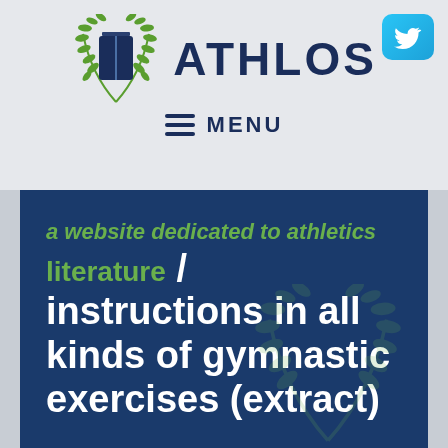[Figure (logo): Athlos logo with laurel wreath emblem and brand name ATHLOS, plus Twitter button]
≡ MENU
a website dedicated to athletics literature / instructions in all kinds of gymnastic exercises (extract)
home page
ll all books